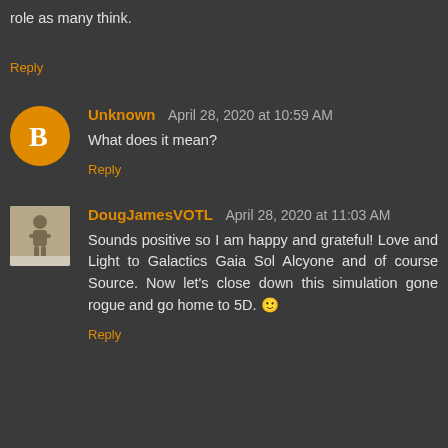role as many think.
Reply
Unknown  April 28, 2020 at 10:59 AM
What does it mean?
Reply
DougJamesVOTL  April 28, 2020 at 11:03 AM
Sounds positive so I am happy and grateful! Love and Light to Galactics Gaia Sol Alcyone and of course Source. Now let's close down this simulation gone rogue and go home to 5D. 🙂
Reply